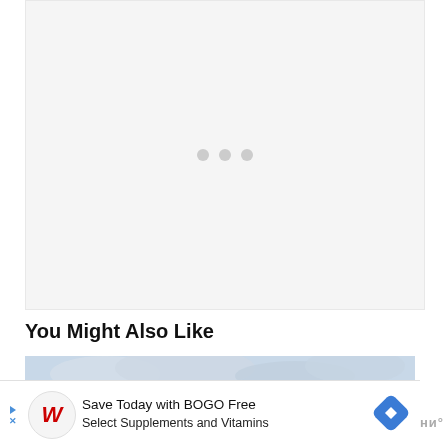[Figure (other): Loading placeholder with light gray background and three gray dots centered]
You Might Also Like
[Figure (photo): Panoramic photo of green tropical hills and mountains with a cloudy sky and water visible in the distance, buildings visible on the hillsides]
[Figure (other): Advertisement banner: Save Today with BOGO Free Select Supplements and Vitamins, Walgreens logo, blue diamond navigation icon]